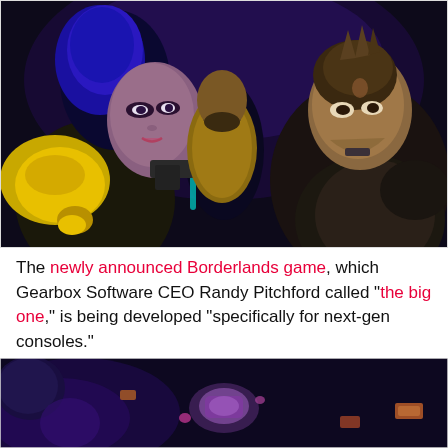[Figure (illustration): Borderlands game artwork showing stylized characters: a female character with blue hair and yellow armor on the left, a large male character with goggles in the background center, and a male character in dark armor on the right, all in a dramatic sci-fi setting.]
The newly announced Borderlands game, which Gearbox Software CEO Randy Pitchford called "the big one," is being developed "specifically for next-gen consoles."
[Figure (illustration): Borderlands game artwork showing a purple-tinted sci-fi scene with floating/flying elements and glowing purple light effects.]